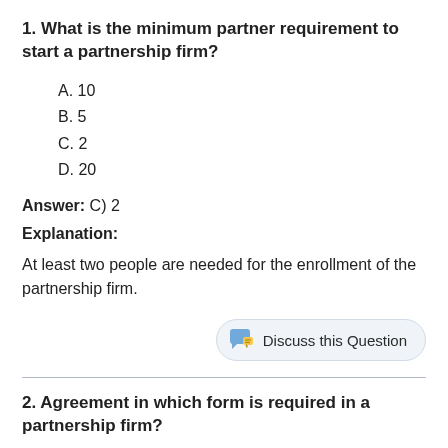1. What is the minimum partner requirement to start a partnership firm?
A. 10
B. 5
C. 2
D. 20
Answer: C) 2
Explanation:
At least two people are needed for the enrollment of the partnership firm.
Discuss this Question
2. Agreement in which form is required in a partnership firm?